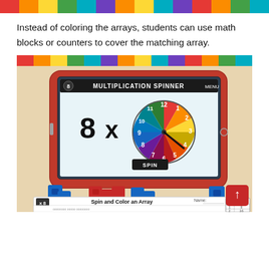[Figure (illustration): Colorful horizontal strip of colored squares in repeating rainbow pattern (red, orange, yellow, green, teal, purple, orange, yellow, teal, purple, red, orange, green, teal)]
Instead of coloring the arrays, students can use math blocks or counters to cover the matching array.
[Figure (photo): Photo of a tablet showing a Multiplication Spinner app with '8 x' and a colorful circular spinner showing numbers 1-12. Below the tablet are red and blue math cube blocks. A worksheet titled 'Spin and Color an Array' is visible at the bottom with arrays of circles and a times-8 table. A red scroll-up button is in the bottom right.]